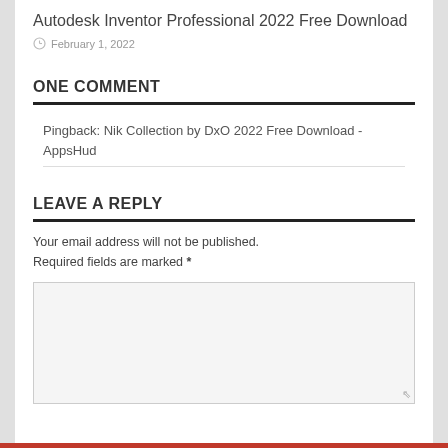Autodesk Inventor Professional 2022 Free Download
February 1, 2022
ONE COMMENT
Pingback: Nik Collection by DxO 2022 Free Download - AppsHud
LEAVE A REPLY
Your email address will not be published. Required fields are marked *